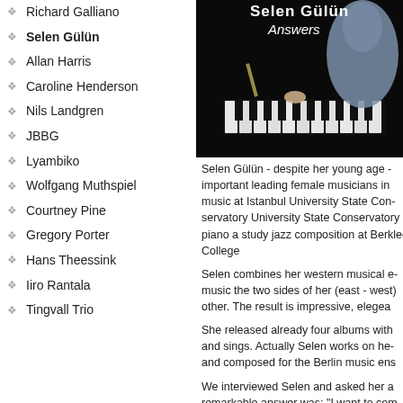Richard Galliano
Selen Gülün
Allan Harris
Caroline Henderson
Nils Landgren
JBBG
Lyambiko
Wolfgang Muthspiel
Courtney Pine
Gregory Porter
Hans Theessink
Iiro Rantala
Tingvall Trio
[Figure (photo): Album cover for Selen Gülün 'Answers' — woman in blue dress playing piano on dark background]
Selen Gülün - despite her young age - important leading female musicians in music at Istanbul University State Conservatory University State Conservatory piano and study jazz composition at Berklee College
Selen combines her western musical education music the two sides of her (east - west) other. The result is impressive, elegea
She released already four albums with and sings. Actually Selen works on her and composed for the Berlin music ens
We interviewed Selen and asked her a remarkable answer was: "I want to combine music with people until my last breath"